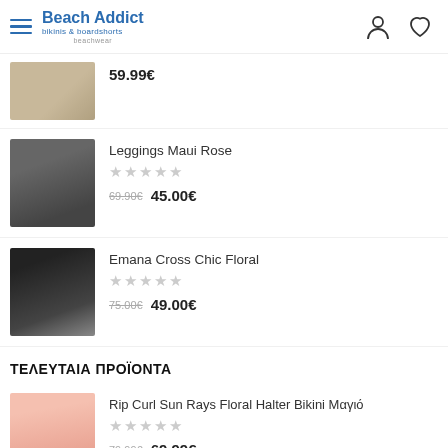Beach Addict bikinis & boardshorts beachwear
59.99€
Leggings Maui Rose — 69.90€ 45.00€
Emana Cross Chic Floral — 75.00€ 49.00€
ΤΕΛΕΥΤΑΙΑ ΠΡΟΪΟΝΤΑ
Rip Curl Sun Rays Floral Halter Bikini Μαγιό — 79.99€ 69.99€
Σαλοπέτα Παντελόνι Aloha...